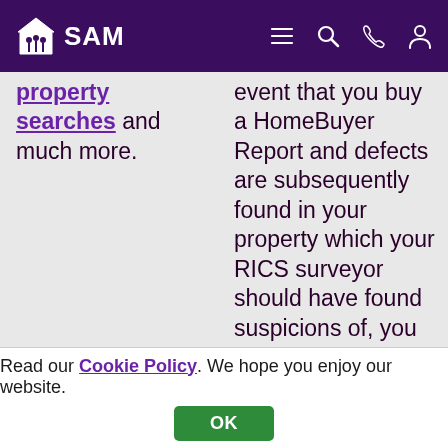SAM
property searches and much more.
event that you buy a HomeBuyer Report and defects are subsequently found in your property which your RICS surveyor should have found suspicions of, you are able to claim against that surveyor
Read our Cookie Policy. We hope you enjoy our website.